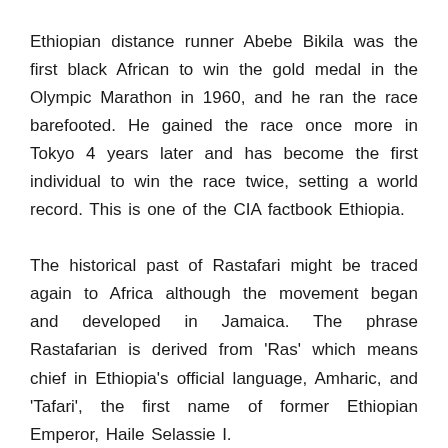Ethiopian distance runner Abebe Bikila was the first black African to win the gold medal in the Olympic Marathon in 1960, and he ran the race barefooted. He gained the race once more in Tokyo 4 years later and has become the first individual to win the race twice, setting a world record. This is one of the CIA factbook Ethiopia.
The historical past of Rastafari might be traced again to Africa although the movement began and developed in Jamaica. The phrase Rastafarian is derived from 'Ras' which means chief in Ethiopia's official language, Amharic, and 'Tafari', the first name of former Ethiopian Emperor, Haile Selassie I.